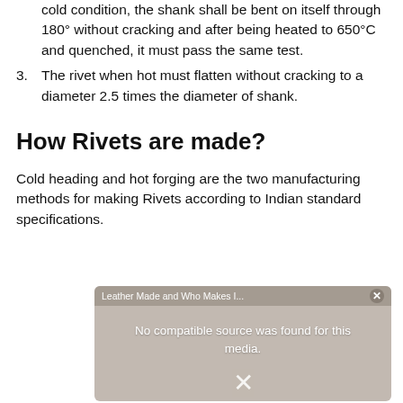cold condition, the shank shall be bent on itself through 180° without cracking and after being heated to 650°C and quenched, it must pass the same test.
3. The rivet when hot must flatten without cracking to a diameter 2.5 times the diameter of shank.
How Rivets are made?
Cold heading and hot forging are the two manufacturing methods for making Rivets according to Indian standard specifications.
[Figure (screenshot): Video overlay with message 'No compatible source was found for this media.' with a close button and X mark. Title bar reads 'Leather Made and Who Makes I...']